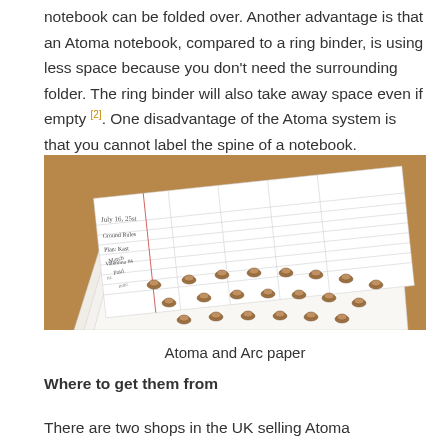notebook can be folded over. Another advantage is that an Atoma notebook, compared to a ring binder, is using less space because you don't need the surrounding folder. The ring binder will also take away space even if empty [2]. One disadvantage of the Atoma system is that you cannot label the spine of a notebook.
[Figure (photo): Photo of Atoma and Arc paper showing notebook pages with mushroom/disc binding rings on a brown cardboard surface.]
Atoma and Arc paper
Where to get them from
There are two shops in the UK selling Atoma notebooks: Craft &